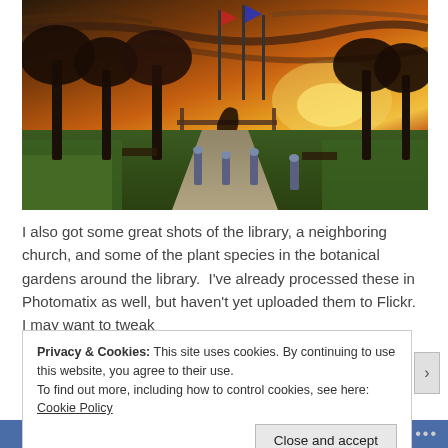[Figure (photo): HDR photograph of a park or public area at sunset. Orange and red dramatic sky. Trees with bare branches in the foreground, decorative metal structures and bollards along a paved walkway, green grass on the sides.]
I also got some great shots of the library, a neighboring church, and some of the plant species in the botanical gardens around the library.  I've already processed these in Photomatix as well, but haven't yet uploaded them to Flickr.  I may want to tweak
Privacy & Cookies: This site uses cookies. By continuing to use this website, you agree to their use.
To find out more, including how to control cookies, see here: Cookie Policy
Close and accept
Follow ···